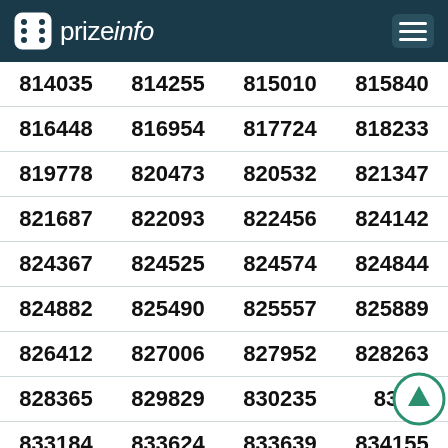prizeinfo
| 814035 | 814255 | 815010 | 815840 |
| 816448 | 816954 | 817724 | 818233 |
| 819778 | 820473 | 820532 | 821347 |
| 821687 | 822093 | 822456 | 824142 |
| 824367 | 824525 | 824574 | 824844 |
| 824882 | 825490 | 825557 | 825889 |
| 826412 | 827006 | 827952 | 828263 |
| 828365 | 829829 | 830235 | 832... |
| 833184 | 833624 | 833639 | 834155 |
| 835503 | 835648 | 835810 | 835858 |
| 836347 | 837297 | 837388 | 838838 |
| 838941 | 839041 | 839079 | 839801 |